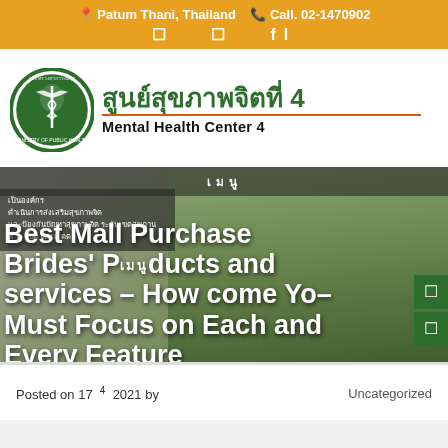📍 Patum Thani, Thailand  📞 Call. 02-1470902
[Figure (logo): Ministry of Public Health Thailand circular logo with green border and caduceus symbol]
สูนย์สุขภาพจิตที่ 4 Mental Health Center 4
Best Mall Purchase Brides' Products and services – How come You Must Focus on Each and Every Feature
เมนู (Menu)
เป็นองค์กร ดำเนินการส่งเสริมสุขภาพจิต และป้องกันปัญหาสุขภาพจิต ระดับเขตสุขภาน ที่ ระ เขต จิต เม ตต
Posted on 17  4  2021 by    Uncategorized